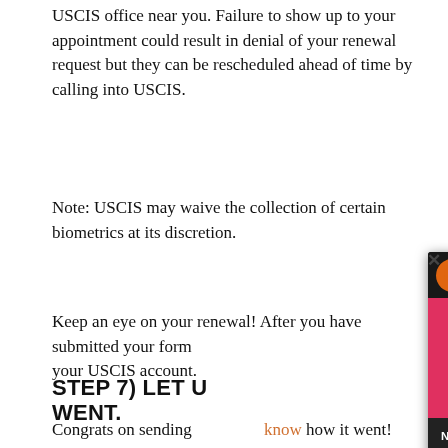USCIS office near you. Failure to show up to your appointment could result in denial of your renewal request but they can be rescheduled ahead of time by calling into USCIS.
Note: USCIS may waive the collection of certain biometrics at its discretion.
Keep an eye on your renewal! After you have submitted your form, you can track its status in your USCIS account.
[Figure (screenshot): YouTube video overlay showing 'HOW TO RENE...' with a play button, orange channel icon, and 'Now Playing: How to Easily Renew Your DACA in 2022' caption bar. A close (X) button appears top-left of the overlay.]
STEP 7) LET U WENT.
Congrats on sending know how it went! United We Dream is the largest